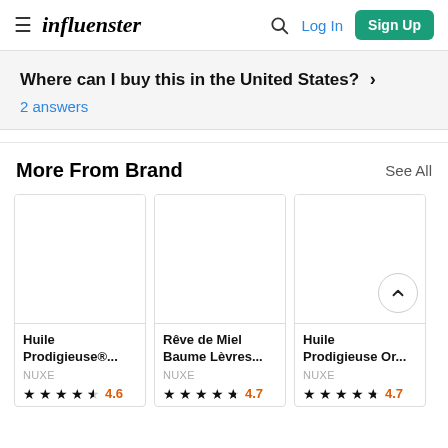influenster — Log In | Sign Up
Where can I buy this in the United States? >
2 answers
More From Brand
See All
[Figure (screenshot): Product card: Huile Prodigieuse®... by NUXE, rating 4.6 stars]
[Figure (screenshot): Product card: Rêve de Miel Baume Lèvres... by NUXE, rating 4.7 stars]
[Figure (screenshot): Product card: Huile Prodigieuse Or... by NUXE, rating 4.7 stars]